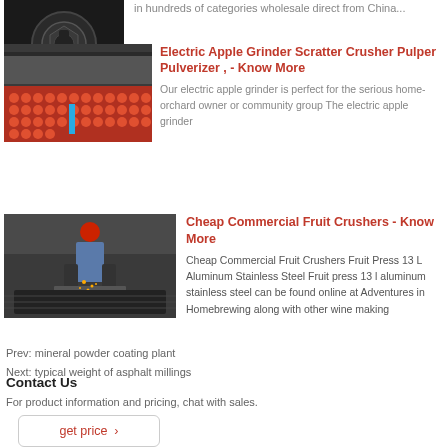in hundreds of categories wholesale direct from China...
[Figure (photo): Close-up photo of a metal bolt/nut on dark background]
[Figure (photo): Industrial machinery image showing rows of orange/red components with a blue element]
Electric Apple Grinder Scratter Crusher Pulper Pulverizer , - Know More
Our electric apple grinder is perfect for the serious home-orchard owner or community group The electric apple grinder
[Figure (photo): Worker in red helmet using grinder/welding equipment on metal surface]
Cheap Commercial Fruit Crushers - Know More
Cheap Commercial Fruit Crushers Fruit Press 13 L Aluminum Stainless Steel Fruit press 13 l aluminum stainless steel can be found online at Adventures in Homebrewing along with other wine making
Prev: mineral powder coating plant
Next: typical weight of asphalt millings
Contact Us
For product information and pricing, chat with sales.
get price ›